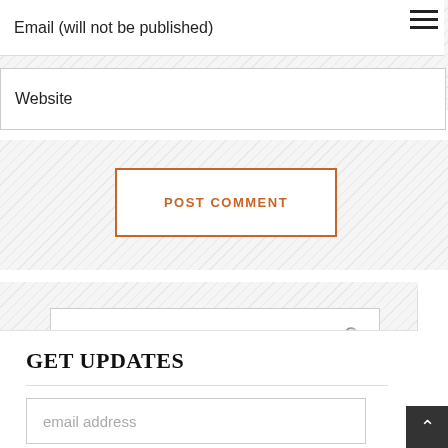Email (will not be published)
Website
POST COMMENT
SEARCH
GET UPDATES
email address